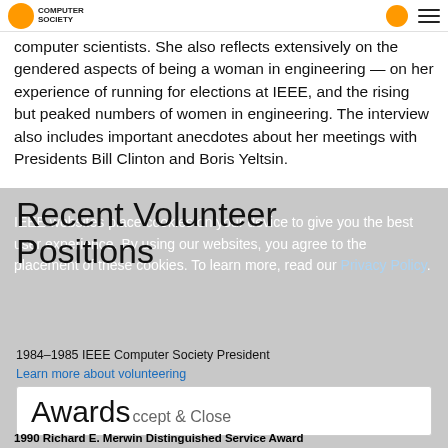IEEE Computer Society
computer scientists. She also reflects extensively on the gendered aspects of being a woman in engineering — on her experience of running for elections at IEEE, and the rising but peaked numbers of women in engineering. The interview also includes important anecdotes about her meetings with Presidents Bill Clinton and Boris Yeltsin.
Recent Volunteer Positions
IEEE websites place cookies on your device to give you the best user experience. By using our websites, you agree to the placement of these cookies. To learn more, read our Privacy Policy.
1984–1985 IEEE Computer Society President
Learn more about volunteering
Awards
Accept & Close
1990 Richard E. Merwin Distinguished Service Award
“In recognition of outstanding contributions to the